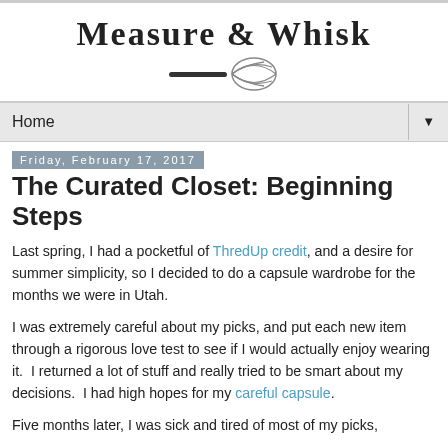[Figure (logo): Measure & Whisk blog logo with cursive text and a whisk illustration underneath]
Home ▼
Friday, February 17, 2017
The Curated Closet: Beginning Steps
Last spring, I had a pocketful of ThredUp credit, and a desire for summer simplicity, so I decided to do a capsule wardrobe for the months we were in Utah.
I was extremely careful about my picks, and put each new item through a rigorous love test to see if I would actually enjoy wearing it.  I returned a lot of stuff and really tried to be smart about my decisions.  I had high hopes for my careful capsule.
Five months later, I was sick and tired of most of my picks,